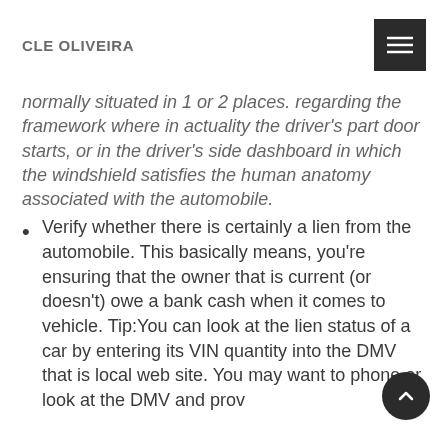CLE OLIVEIRA
normally situated in 1 or 2 places. regarding the framework where in actuality the driver's part door starts, or in the driver's side dashboard in which the windshield satisfies the human anatomy associated with the automobile.
Verify whether there is certainly a lien from the automobile. This basically means, you're ensuring that the owner that is current (or doesn't) owe a bank cash when it comes to vehicle. Tip:You can look at the lien status of a car by entering its VIN quantity into the DMV that is local web site. You may want to phone or look at the DMV and prov